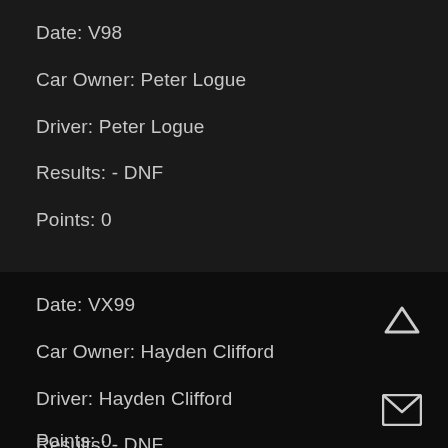Date: V98
Car Owner: Peter Logue
Driver: Peter Logue
Results:  - DNF
Points: 0
Date: VX99
Car Owner: Hayden Clifford
Driver: Hayden Clifford
Results:  - DNF
Points: 0